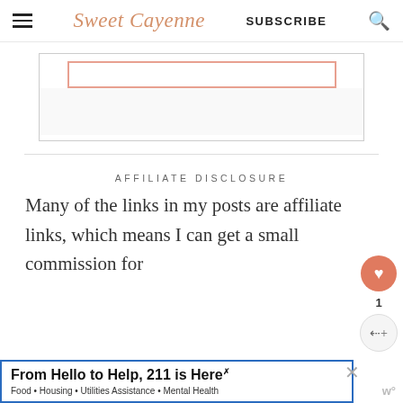Sweet Cayenne | SUBSCRIBE
[Figure (screenshot): Partial view of an advertisement placeholder box with a pink/salmon-colored border rectangle inside a larger light gray bordered box area]
AFFILIATE DISCLOSURE
Many of the links in my posts are affiliate links, which means I can get a small commission for
[Figure (screenshot): Bottom advertisement banner: 'From Hello to Help, 211 is Here' with subtitle 'Food • Housing • Utilities Assistance • Mental Health' with blue border. Also shows a heart/favorite button (salmon colored) with count '1', a share button, a close X button, and a W logo.]